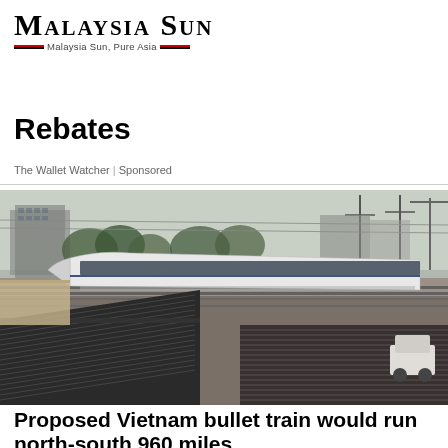Malaysia Sun — Malaysia Sun, Pure Asia
Rebates
The Wallet Watcher | Sponsored
[Figure (photo): A high-speed white bullet train running along elevated tracks through an urban area with buildings and trees in the background. Traditional rooftop tiles visible in the foreground.]
Proposed Vietnam bullet train would run north-south 960 miles